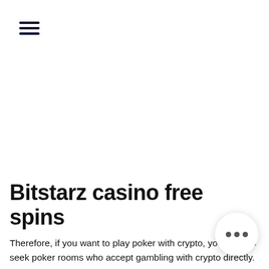☰
Bitstarz casino free spins
Therefore, if you want to play poker with crypto, you need to seek poker rooms who accept gambling with crypto directly. You won't have many choices and so, for most people, BetOnline and Ignition are the top